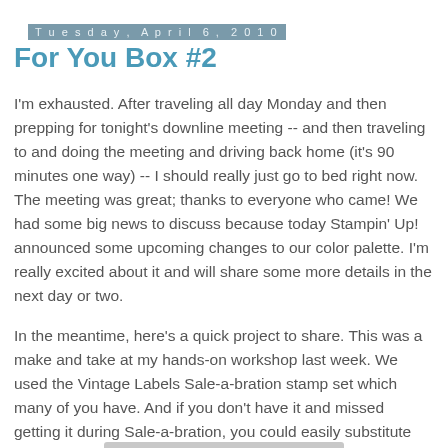Tuesday, April 6, 2010
For You Box #2
I'm exhausted. After traveling all day Monday and then prepping for tonight's downline meeting -- and then traveling to and doing the meeting and driving back home (it's 90 minutes one way) -- I should really just go to bed right now. The meeting was great; thanks to everyone who came! We had some big news to discuss because today Stampin' Up! announced some upcoming changes to our color palette. I'm really excited about it and will share some more details in the next day or two.
In the meantime, here's a quick project to share. This was a make and take at my hands-on workshop last week. We used the Vintage Labels Sale-a-bration stamp set which many of you have. And if you don't have it and missed getting it during Sale-a-bration, you could easily substitute the label image for something else.
[Figure (other): Bottom edge of a image/card partially visible at the bottom of the page, gray rectangle shown.]